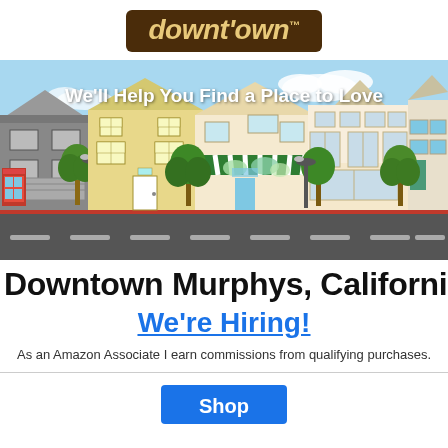[Figure (logo): Downtown logo with dark brown background and gold italic stylized text reading 'downt'own' with a trademark symbol]
[Figure (illustration): Illustrated downtown street scene with colorful row of storefronts including shops with awnings, trees, street lamps, a red phone booth, and a road in foreground. White text overlay reads 'We'll Help You Find a Place to Love']
Downtown Murphys, California
We're Hiring!
As an Amazon Associate I earn commissions from qualifying purchases.
Shop